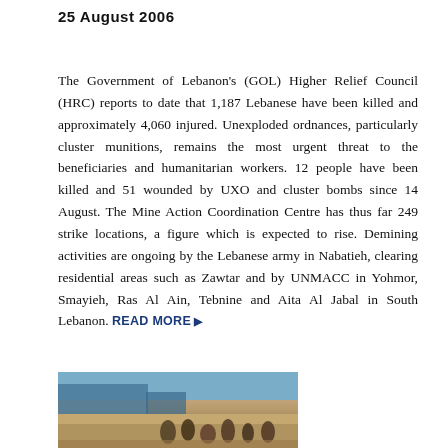25 August 2006
The Government of Lebanon's (GOL) Higher Relief Council (HRC) reports to date that 1,187 Lebanese have been killed and approximately 4,060 injured. Unexploded ordnances, particularly cluster munitions, remains the most urgent threat to the beneficiaries and humanitarian workers. 12 people have been killed and 51 wounded by UXO and cluster bombs since 14 August. The Mine Action Coordination Centre has thus far 249 strike locations, a figure which is expected to rise. Demining activities are ongoing by the Lebanese army in Nabatieh, clearing residential areas such as Zawtar and by UNMACC in Yohmor, Smayieh, Ras Al Ain, Tebnine and Aita Al Jabal in South Lebanon. READ MORE ▶
[Figure (photo): Outdoor scene showing people working or gathering on sandy/earthen ground, with a blue structure visible in the background]